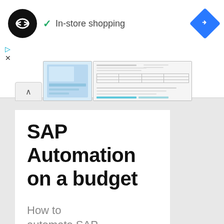[Figure (screenshot): Browser UI screenshot showing a logo circle with infinity-like symbol, a green checkmark with 'In-store shopping' text, a blue diamond navigation icon, play and close controls, and thumbnail images of a document]
SAP Automation on a budget
How to automate SAP with a shoestring